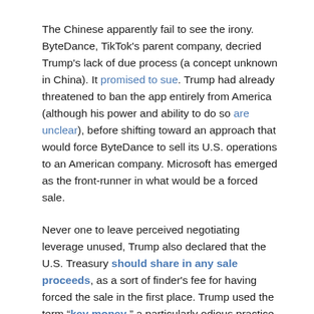The Chinese apparently fail to see the irony. ByteDance, TikTok's parent company, decried Trump's lack of due process (a concept unknown in China). It promised to sue. Trump had already threatened to ban the app entirely from America (although his power and ability to do so are unclear), before shifting toward an approach that would force ByteDance to sell its U.S. operations to an American company. Microsoft has emerged as the front-runner in what would be a forced sale.
Never one to leave perceived negotiating leverage unused, Trump also declared that the U.S. Treasury should share in any sale proceeds, as a sort of finder's fee for having forced the sale in the first place. Trump used the term "key money," a particularly odious practice that is part of the New York real estate scene (from whence his prominence arose).